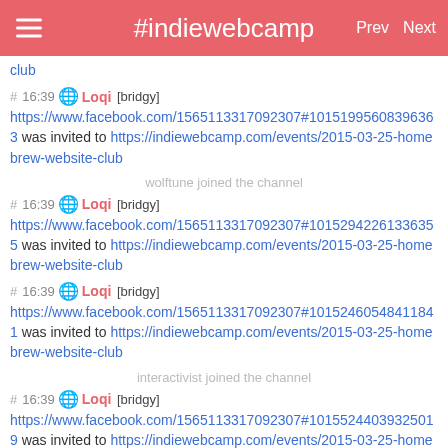#indiewebcamp  Prev  Next
club
# 16:39 🌐 Loqi [bridgy] https://www.facebook.com/1565113317092307#10151995608396363 was invited to https://indiewebcamp.com/events/2015-03-25-homebrew-website-club
wolftune joined the channel
# 16:39 🌐 Loqi [bridgy] https://www.facebook.com/1565113317092307#10152942261336355 was invited to https://indiewebcamp.com/events/2015-03-25-homebrew-website-club
# 16:39 🌐 Loqi [bridgy] https://www.facebook.com/1565113317092307#10152460548411841 was invited to https://indiewebcamp.com/events/2015-03-25-homebrew-website-club
interactivist joined the channel
# 16:39 🌐 Loqi [bridgy] https://www.facebook.com/1565113317092307#10155244039325019 was invited to https://indiewebcamp.com/events/2015-03-25-homebrew-website-club